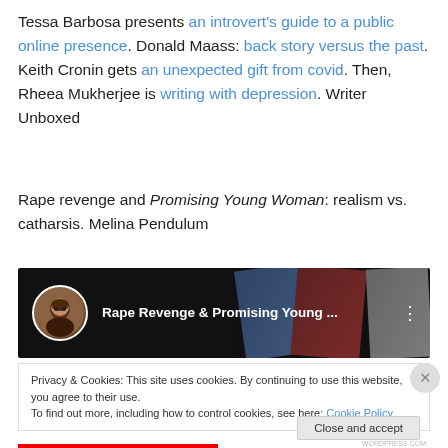Tessa Barbosa presents an introvert's guide to a public online presence. Donald Maass: back story versus the past. Keith Cronin gets an unexpected gift from covid. Then, Rheea Mukherjee is writing with depression. Writer Unboxed
Rape revenge and Promising Young Woman: realism vs. catharsis. Melina Pendulum
[Figure (screenshot): YouTube video thumbnail for 'Rape Revenge & Promising Young ...' with avatar icon and video images in background]
Privacy & Cookies: This site uses cookies. By continuing to use this website, you agree to their use.
To find out more, including how to control cookies, see here: Cookie Policy
Close and accept